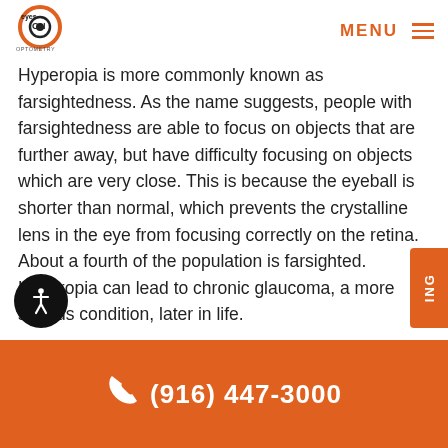Eyes On Optometry — MENU
Hyperopia is more commonly known as farsightedness. As the name suggests, people with farsightedness are able to focus on objects that are further away, but have difficulty focusing on objects which are very close. This is because the eyeball is shorter than normal, which prevents the crystalline lens in the eye from focusing correctly on the retina. About a fourth of the population is farsighted. Hyperopia can lead to chronic glaucoma, a more serious condition, later in life.
A family history of hyperopia is a risk factor for developing hyperopia. Babies are often born with hyperopia but they can usually outgrow the
(916) 447-3000